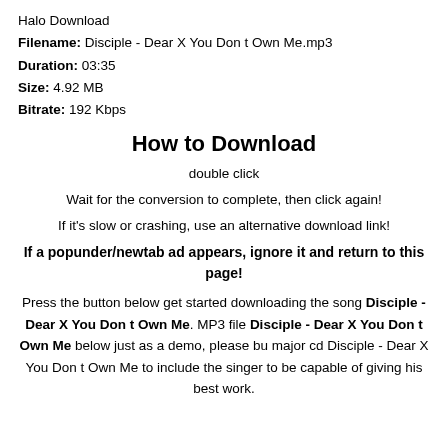Halo Download
Filename: Disciple - Dear X You Don t Own Me.mp3
Duration: 03:35
Size: 4.92 MB
Bitrate: 192 Kbps
How to Download
double click
Wait for the conversion to complete, then click again!
If it's slow or crashing, use an alternative download link!
If a popunder/newtab ad appears, ignore it and return to this page!
Press the button below get started downloading the song Disciple - Dear X You Don t Own Me. MP3 file Disciple - Dear X You Don t Own Me below just as a demo, please bu major cd Disciple - Dear X You Don t Own Me to include the singer to be capable of giving his best work.